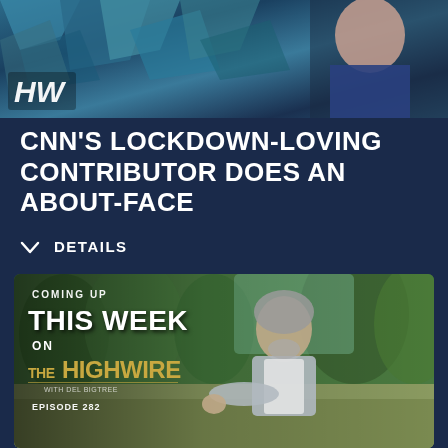[Figure (screenshot): Top banner image showing HW (HighWire) logo in bottom-left corner over a dark blue crystalline/geometric background with partial view of a woman on the right side]
CNN'S LOCKDOWN-LOVING CONTRIBUTOR DOES AN ABOUT-FACE
∨  DETAILS
[Figure (screenshot): Promotional image for The HighWire Episode 282 showing text 'COMING UP THIS WEEK ON THEHIGHWIRE EPISODE 282' with a middle-aged man with gray hair and beard pointing at the camera, standing outdoors in a wooded area]